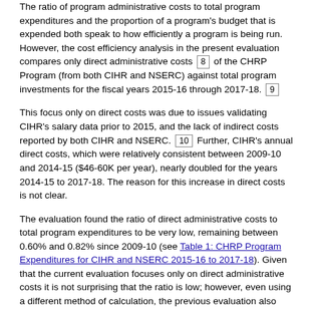The ratio of program administrative costs to total program expenditures and the proportion of a program's budget that is expended both speak to how efficiently a program is being run. However, the cost efficiency analysis in the present evaluation compares only direct administrative costs [8] of the CHRP Program (from both CIHR and NSERC) against total program investments for the fiscal years 2015-16 through 2017-18. [9]
This focus only on direct costs was due to issues validating CIHR's salary data prior to 2015, and the lack of indirect costs reported by both CIHR and NSERC. [10] Further, CIHR's annual direct costs, which were relatively consistent between 2009-10 and 2014-15 ($46-60K per year), nearly doubled for the years 2014-15 to 2017-18. The reason for this increase in direct costs is not clear.
The evaluation found the ratio of direct administrative costs to total program expenditures to be very low, remaining between 0.60% and 0.82% since 2009-10 (see Table 1: CHRP Program Expenditures for CIHR and NSERC 2015-16 to 2017-18). Given that the current evaluation focuses only on direct administrative costs it is not surprising that the ratio is low; however, even using a different method of calculation, the previous evaluation also